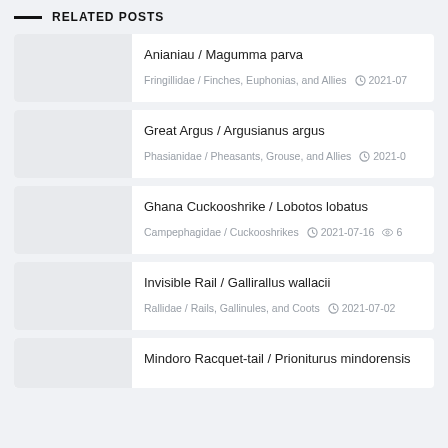RELATED POSTS
Anianiau / Magumma parva
Fringillidae / Finches, Euphonias, and Allies  2021-07
Great Argus / Argusianus argus
Phasianidae / Pheasants, Grouse, and Allies  2021-0
Ghana Cuckooshrike / Lobotos lobatus
Campephagidae / Cuckooshrikes  2021-07-16  6
Invisible Rail / Gallirallus wallacii
Rallidae / Rails, Gallinules, and Coots  2021-07-02
Mindoro Racquet-tail / Prioniturus mindorensis